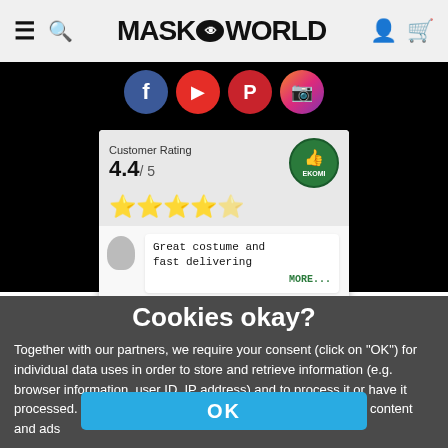MASK WORLD - navigation header with menu, search, logo, user, cart icons
[Figure (infographic): Social media icons: Facebook (blue), YouTube (red), Pinterest (red), Instagram (gradient) circular buttons on black background]
[Figure (infographic): Customer Rating widget showing 4.4/5 stars with a green Customer Award Ekomi badge and a review saying 'Great costume and fast delivering' with MORE... link]
Cookies okay?
Together with our partners, we require your consent (click on "OK") for individual data uses in order to store and retrieve information (e.g. browser information, user ID, IP address) and to process it or have it processed. The data usage is for personalised functionalities, content and ads
OK